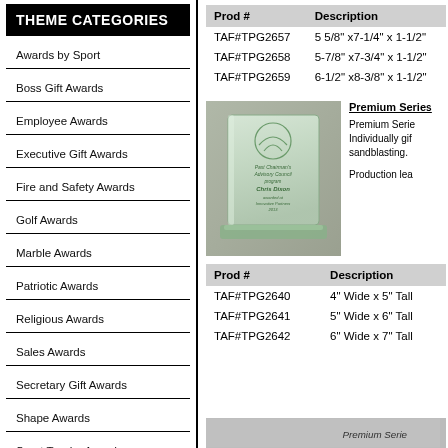THEME CATEGORIES
Awards by Sport
Boss Gift Awards
Employee Awards
Executive Gift Awards
Fire and Safety Awards
Golf Awards
Marble Awards
Patriotic Awards
Religious Awards
Sales Awards
Secretary Gift Awards
Shape Awards
Sport Trophy Awards
| Prod # | Description |
| --- | --- |
| TAF#TPG2657 | 5 5/8" x7-1/4" x 1-1/2" |
| TAF#TPG2658 | 5-7/8" x7-3/4" x 1-1/2" |
| TAF#TPG2659 | 6-1/2" x8-3/8" x 1-1/2" |
[Figure (photo): Glass award plaque on a jade glass base, engraved with text reading 'Past Chairman's Advisory Council program Chris Dixon awarded at Innovative Partners 2013']
Premium Series. Individually gift boxed. Deep etch sandblasting. Production lead time...
| Prod # | Description |
| --- | --- |
| TAF#TPG2640 | 4" Wide x 5" Tall |
| TAF#TPG2641 | 5" Wide x 6" Tall |
| TAF#TPG2642 | 6" Wide x 7" Tall |
[Figure (photo): Bottom strip showing another Premium Series award product]